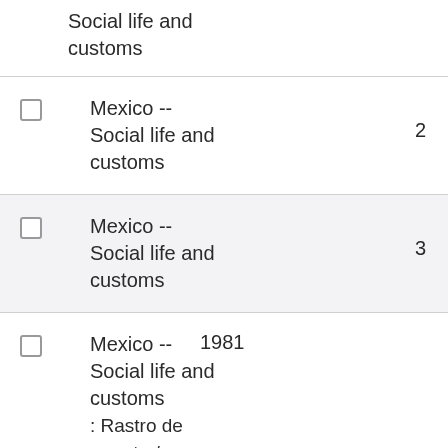Social life and customs
Mexico -- Social life and customs  2
Mexico -- Social life and customs  3
Mexico -- Social life and customs  1981 : Rastro de muerte / Conacine ; argumento y  1